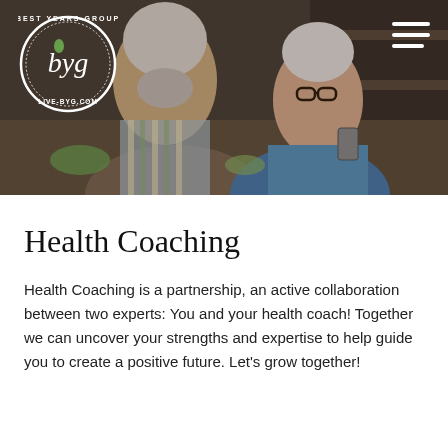[Figure (photo): Hero image showing two elderly people (a man with white beard in a striped apron and a woman with short white hair wearing glasses and a blue top) cooking together in a kitchen. Best Years Group logo circle with 'byg' and 'LIVE-BYG.COM' text is overlaid on the top left. A hamburger menu icon is in the top right.]
Health Coaching
Health Coaching is a partnership, an active collaboration between two experts: You and your health coach! Together we can uncover your strengths and expertise to help guide you to create a positive future. Let's grow together!